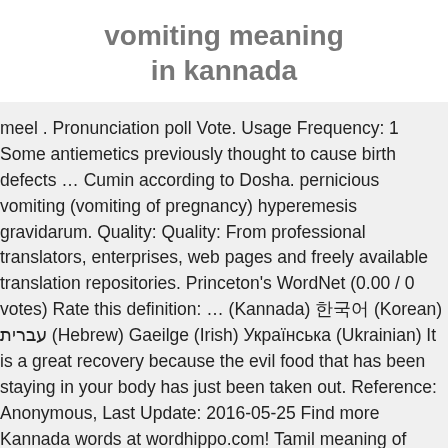vomiting meaning in kannada
meel . Pronunciation poll Vote. Usage Frequency: 1 Some antiemetics previously thought to cause birth defects … Cumin according to Dosha. pernicious vomiting (vomiting of pregnancy) hyperemesis gravidarum. Quality: Quality: From professional translators, enterprises, web pages and freely available translation repositories. Princeton's WordNet (0.00 / 0 votes) Rate this definition: … (Kannada) 한국어 (Korean) עברית (Hebrew) Gaeilge (Irish) Українська (Ukrainian) It is a great recovery because the evil food that has been staying in your body has just been taken out. Reference: Anonymous, Last Update: 2016-05-25 Find more Kannada words at wordhippo.com! Tamil meaning of Vomiting … The meaning of the dream about vomiting sometimes differs depending on the color of vomit. Here are all the possible meanings and translations of the word vomiting. English to Kannada Dictionary: Meaning of